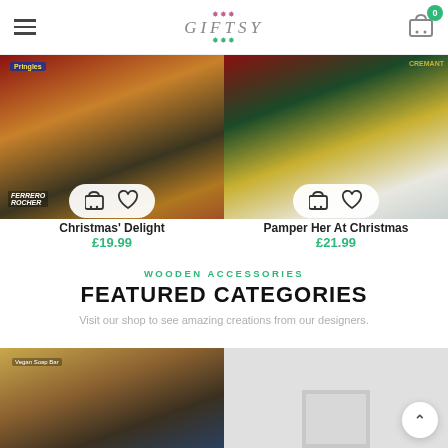Giftsy — navigation header with hamburger menu, logo, and cart icon (badge: 0)
[Figure (photo): Two product photos side by side: left shows Christmas gift hamper with Ferrero Rocher chocolates, Pringles, wine bottle, and champagne glass; right shows Pamper Her At Christmas hamper with champagne bottle, red gift boxes, berries, and glasses.]
Christmas' Delight
£19.99
Pamper Her At Christmas
£21.99
WOODEN ACCESSORIES
FEATURED CATEGORIES
Visit our shop to see amazing creations from our designers.
[Figure (photo): Bottom left: photo of a wicker basket with soap, scrub mitt, and natural beauty products. Bottom right: partially visible photo of a silver photo frame.]